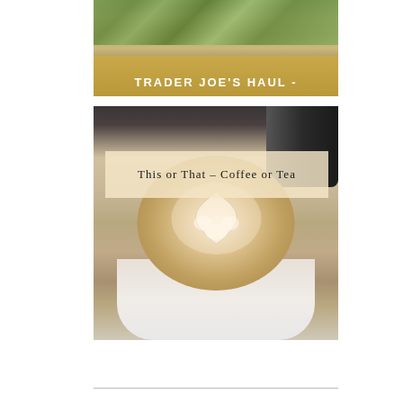[Figure (photo): Top portion showing Trader Joe's haul image with green produce at top and a gold/tan banner at the bottom reading 'TRADER JOE'S HAUL -' in white bold uppercase letters]
[Figure (photo): Photo of a latte in a white cup with latte art on top, a dark cup visible in the background, with an overlay text box reading 'This or That – Coffee or Tea']
This or That – Coffee or Tea